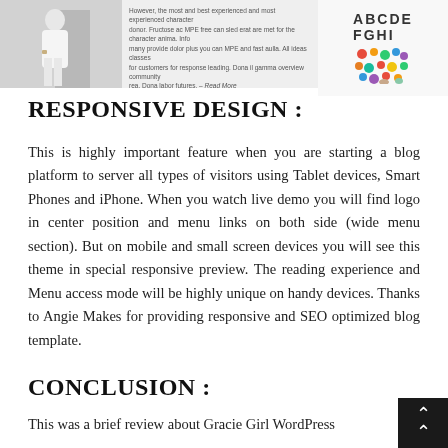[Figure (photo): Top section showing a person in white dress on the left, a block of small text in the center, and alphabet letters 'ABCDE FGHI' with colorful circles on the right.]
RESPONSIVE DESIGN :
This is highly important feature when you are starting a blog platform to server all types of visitors using Tablet devices, Smart Phones and iPhone. When you watch live demo you will find logo in center position and menu links on both side (wide menu section). But on mobile and small screen devices you will see this theme in special responsive preview. The reading experience and Menu access mode will be highly unique on handy devices. Thanks to Angie Makes for providing responsive and SEO optimized blog template.
CONCLUSION :
This was a brief review about Gracie Girl WordPress